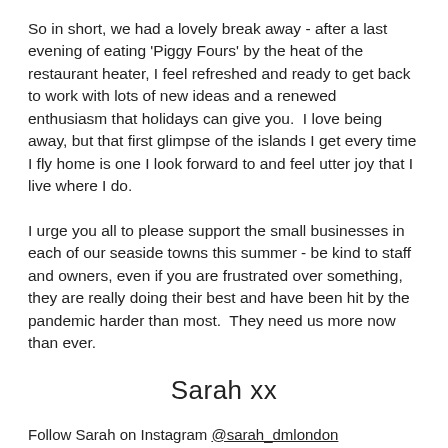So in short, we had a lovely break away - after a last evening of eating 'Piggy Fours' by the heat of the restaurant heater, I feel refreshed and ready to get back to work with lots of new ideas and a renewed enthusiasm that holidays can give you.  I love being away, but that first glimpse of the islands I get every time I fly home is one I look forward to and feel utter joy that I live where I do.
I urge you all to please support the small businesses in each of our seaside towns this summer - be kind to staff and owners, even if you are frustrated over something, they are really doing their best and have been hit by the pandemic harder than most.  They need us more now than ever.
Sarah xx
Follow Sarah on Instagram @sarah_dmlondon